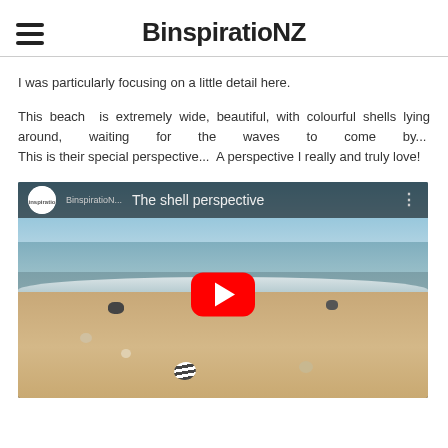BinspiratioNZ
I was particularly focusing on a little detail here.
This beach is extremely wide, beautiful, with colourful shells lying around, waiting for the waves to come by... This is their special perspective... A perspective I really and truly love!
[Figure (screenshot): Embedded YouTube video thumbnail showing 'The shell perspective' — a low-angle beach scene with shells on sand, waves in background, red YouTube play button in center. Channel avatar and title in top bar overlay.]